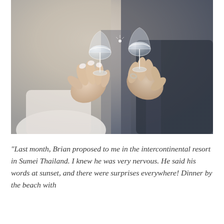[Figure (photo): Two people clinking champagne glasses together. A woman's hand with light nail polish holds one glass on the left, and a man's hand wearing a wedding ring holds the other glass on the right. The woman appears to be wearing a white dress. The background is softly blurred.]
“Last month, Brian proposed to me in the intercontinental resort in Sumei Thailand. I knew he was very nervous. He said his words at sunset, and there were surprises everywhere! Dinner by the beach with